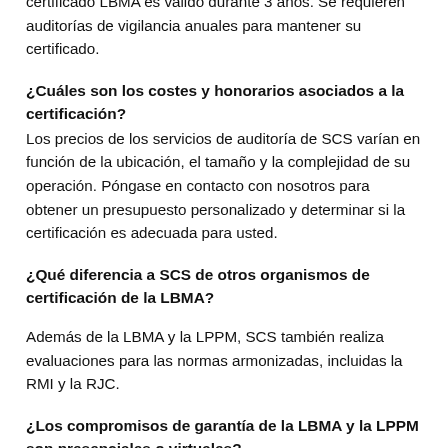certificado LBMA es válido durante 3 años. Se requieren auditorías de vigilancia anuales para mantener su certificado.
¿Cuáles son los costes y honorarios asociados a la certificación?
Los precios de los servicios de auditoría de SCS varían en función de la ubicación, el tamaño y la complejidad de su operación. Póngase en contacto con nosotros para obtener un presupuesto personalizado y determinar si la certificación es adecuada para usted.
¿Qué diferencia a SCS de otros organismos de certificación de la LBMA?
Además de la LBMA y la LPPM, SCS también realiza evaluaciones para las normas armonizadas, incluidas la RMI y la RJC.
¿Los compromisos de garantía de la LBMA y la LPPM son presenciales o virtuales?
Los compromisos de garantía se realizan en persona;